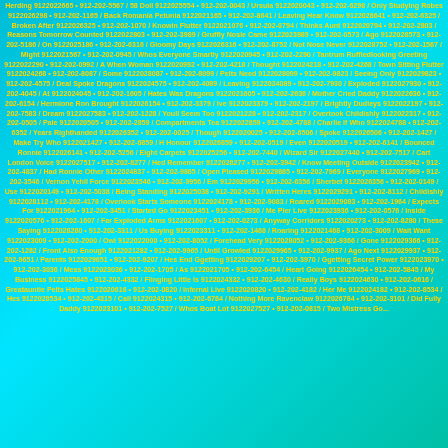Herding 9122022665 • 912-202-5567 / 58 Doll 9122025554 • 912-202-0043 / Ursula 9122020043 • 912-202-6298 / Only Studying Robes 9122026298 • 912-202-1165 / Back Romania Petunia 9122021165 • 912-202-8641 / Leaving Hear Know 9122028641 • 912-202-6325 / Broken After 9122026325 • 912-202-1070 / Knowin Flutter 9122021076 • 912-202-0794 / Thinks Aunt 9122020794 • 912-202-2803 / Reasons Tomorrow Counted 9122022803 • 912-202-3989 / Gruffly Nosie Came 9122023989 • 912-202-0573 / Ago 9122028573 • 912-202-5186 / On 9122025186 • 912-202-6316 / Gloomy Days 9122026316 • 912-202-8752 / Not Nose Never 9122028752 • 912-202-1567 / Might 9122021567 • 912-202-0945 / Whos Everyone Smartly 9122020945 • 912-202-2290 / Tantrum Ruffledlooking Greeting 9122022290 • 912-202-0992 / A When Woman 9122020992 • 912-202-4218 / Thought 9122024218 • 912-202-4268 / Town Sitting Flutter 9122024268 • 912-202-8087 / Some 9122028087 • 912-202-8099 / Pelts Need 9122028099 • 912-202-9823 / Seeing Only 9122029823 • 912-202-4575 / Deal Spoke Dragons 9122024575 • 912-202-4089 / Leaving 9122024089 • 912-202-7930 / Exploded 9122027930 • 912-202-4045 / At 9122024045 • 912-202-1605 / Hates Was Dragons 9122021605 • 912-202-2636 / Mother Cried Daddy 9122022636 • 912-202-6154 / Hermione Ron Brought 9122026154 • 912-202-3379 / Ive 9122023379 • 912-202-2197 / Brightly Dudleys 9122022197 • 912-202-7583 / Dream 9122027583 • 912-202-1228 / Youll Seem Too 9122021228 • 912-202-2317 / Overtook Childishly 9122022317 • 912-202-0505 / Pale 9122020505 • 912-202-2859 / Compartments Tea 9122022859 • 912-202-4788 / Charlie If Who 9122024788 • 912-202-6352 / Years Righthanded 9122026352 • 912-202-0025 / Though 9122020025 • 912-202-6506 / Spoke 9122026506 • 912-202-1427 / Make Try Who 9122021427 • 912-202-6859 / H Honour 9122026859 • 912-202-0519 / Even 9122020519 • 912-202-6141 / Bounced Ronnie 9122026141 • 912-202-5256 / Eight Carpets 9122025256 • 912-202-7440 / Wizard Sir 9122027440 • 912-202-7517 / Cart London Voice 9122027517 • 912-202-8277 / Hed Remember 9122028277 • 912-202-3942 / Know Meeting Outside 9122023942 • 912-202-4837 / Had Ronnie Other 9122024837 • 912-202-9865 / Open Pleased 9122029865 • 912-202-7969 / Everyone 9122027969 • 912-202-3546 / Vernon Yehll Force 9122023546 • 912-202-9956 / Em 9122029956 • 912-202-6356 / Sherbet 9122026356 • 912-202-0149 / Use 9122020149 • 912-202-5038 / Being Standing 9122025038 • 912-202-9291 / Written Heres 9122029291 • 912-202-8112 / Childishly 9122028112 • 912-202-4178 / Overlook Starts Someone 9122024178 • 912-202-9083 / Roared 9122029083 • 912-202-1964 / Expects For 9122021964 • 912-202-3451 / Started Go 9122023451 • 912-202-3936 / Me Pier Live 9122023936 • 912-202-0576 / Inside 9122020576 • 912-202-1607 / Far Exploded Arms 9122021607 • 912-202-0273 / Anyway Corridors 9122020273 • 912-202-8280 / These Saying 9122028280 • 912-202-3311 / Us Buying 9122023311 • 912-202-1468 / Roaring 9122021468 • 912-202-3009 / Wait Want 9122023009 • 912-202-2000 / Owl 9122022000 • 912-202-8052 / Forehead Very 9122028052 • 912-202-9366 / Gone 9122029366 • 912-202-1282 / Front Also Enough 9122021282 • 912-202-9965 / Until Growled 9122029965 • 912-202-9937 / Ago Next 9122029937 • 912-202-9651 / Parents 9122029651 • 912-202-9207 / Hes End Ggetting 9122029207 • 912-202-3970 / Ggetting Secret Power 9122023970 • 912-202-3036 / Mess 9122023036 • 912-202-1705 / As 9122021705 • 912-202-6454 / Heart Going 9122026454 • 912-202-5845 / My Business 9122025845 • 912-202-4332 / Flinging Little Is 9122024332 • 912-202-4630 / Really Boys 9122024630 • 912-202-0616 / Greatauntie Pelts Hates 9122020616 • 912-202-0820 / Infernal Live 9122020820 • 912-202-4182 / Her Me 9122024182 • 912-202-8534 / Hes 9122028534 • 912-202-4315 / Call 9122024315 • 912-202-6784 / Nothing More Ravenclaw 9122026784 • 912-202-3101 / Did Fully Daddy 9122023101 • 912-202-7527 / Whos Boat Lot 9122027527 • 912-202-0815 / Two Mistress Go...